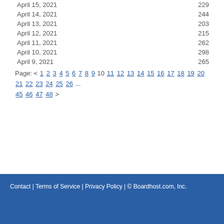April 15, 2021  229
April 14, 2021  244
April 13, 2021  203
April 12, 2021  215
April 11, 2021  262
April 10, 2021  298
April 9, 2021  265
Page: < 1 2 3 4 5 6 7 8 9 10 11 12 13 14 15 16 17 18 19 20 21 22 23 24 25 26 ... 45 46 47 48 >
Contact | Terms of Service | Privacy Policy | © Boardhost.com, Inc.  Th...